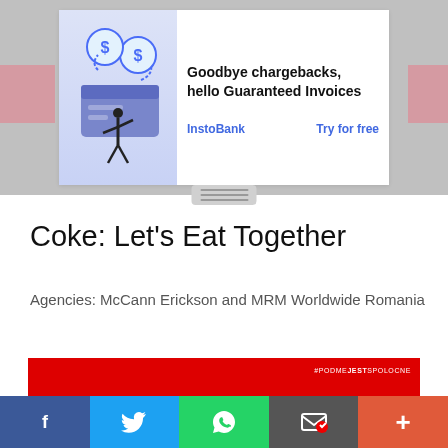[Figure (infographic): Advertisement banner: InstoBank ad showing 'Goodbye chargebacks, hello Guaranteed Invoices' with illustration of person with credit card and dollar signs. Links: InstoBank and Try for free.]
Coke: Let's Eat Together
Agencies: McCann Erickson and MRM Worldwide Romania
[Figure (photo): Red background image with #PODMEJESTSPOLOCNE hashtag text in white in top-right corner, and white silhouettes of fork and spoon at the bottom center.]
[Figure (infographic): Social sharing bar with Facebook (f), Twitter (bird), WhatsApp, Email, and More (+) buttons.]